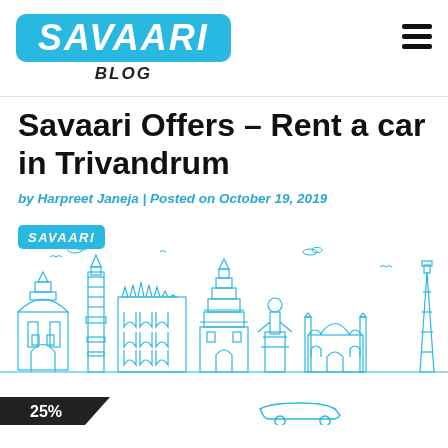SAVAARI BLOG
Savaari Offers – Rent a car in Trivandrum
by Harpreet Janeja | Posted on October 19, 2019
[Figure (illustration): Savaari branded illustration featuring iconic Indian landmarks skyline in outline/line art style in blue, with a small Savaari logo badge in the top-left corner, and a partial view of a car at the bottom right.]